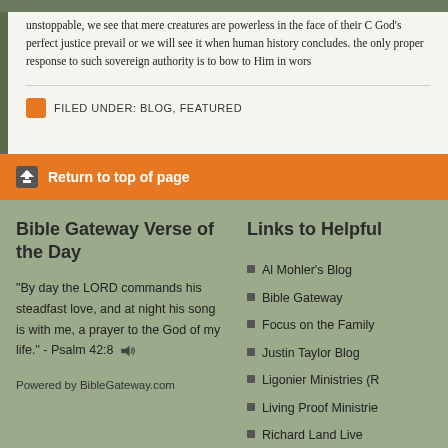unstoppable, we see that mere creatures are powerless in the face of their C God's perfect justice prevail or we will see it when human history concludes. the only proper response to such sovereign authority is to bow to Him in wors
FILED UNDER: BLOG, FEATURED
Return to top of page
Bible Gateway Verse of the Day
"By day the LORD commands his steadfast love, and at night his song is with me, a prayer to the God of my life." - Psalm 42:8
Powered by BibleGateway.com
Links to Helpful
Al Mohler's Blog
Bible Gateway
Focus on the Family
Justin Taylor Blog
Ligonier Ministries (R
Living Proof Ministrie
Richard Land Live